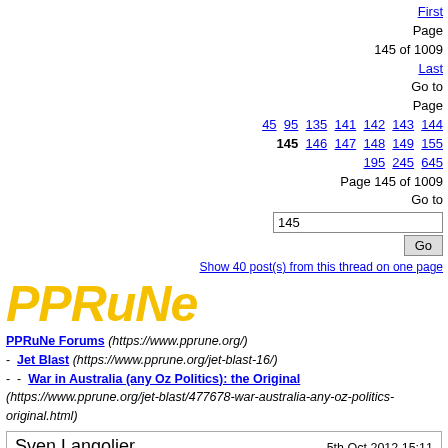First Page 145 of 1009 Last Go to Page 45 95 135 141 142 143 144 145 146 147 148 149 155 195 245 645 Page 145 of 1009 Go to [145] Go Show 40 post(s) from this thread on one page
[Figure (logo): PPRuNe logo in bold italic yellow text]
PPRuNe Forums (https://www.pprune.org/) - Jet Blast (https://www.pprune.org/jet-blast-16/) - - War in Australia (any Oz Politics): the Original (https://www.pprune.org/jet-blast/477678-war-australia-any-oz-politics-original.html)
Sven Langolier
5th Oct 2012 15:11
The dreaded Carbon Tax has now been in place for over three months and, guess what? Things are pretty good.
Here are a few facts and observations for the economically challenged courtesy of The Kouk aka Managing Director of Market Economics